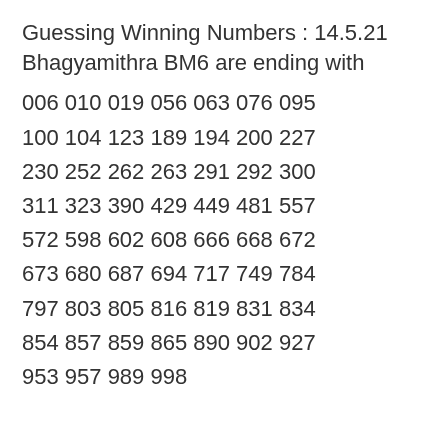Guessing Winning Numbers : 14.5.21 Bhagyamithra BM6 are ending with
006 010 019 056 063 076 095
100 104 123 189 194 200 227
230 252 262 263 291 292 300
311 323 390 429 449 481 557
572 598 602 608 666 668 672
673 680 687 694 717 749 784
797 803 805 816 819 831 834
854 857 859 865 890 902 927
953 957 989 998